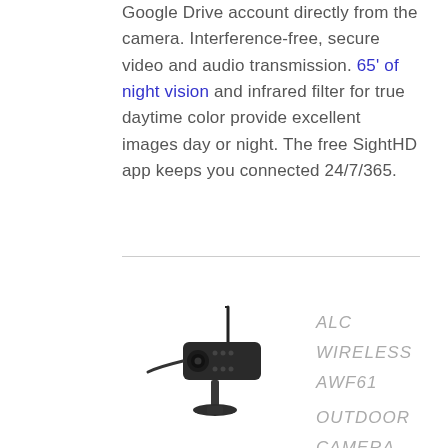Google Drive account directly from the camera. Interference-free, secure video and audio transmission. 65' of night vision and infrared filter for true daytime color provide excellent images day or night. The free SightHD app keeps you connected 24/7/365.
[Figure (photo): ALC wireless outdoor security camera with antenna mounted on a bracket]
ALC WIRELESS AWF61 OUTDOOR CAMERA FULL HD 1080P WI-FI